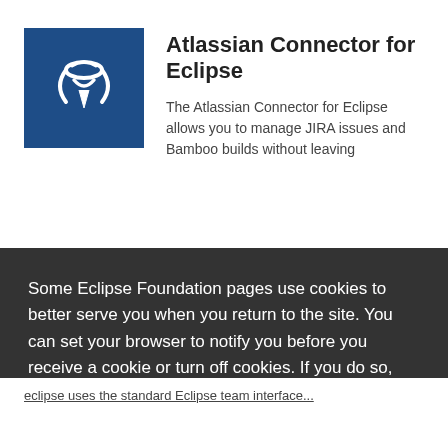[Figure (logo): Atlassian Connector for Eclipse logo — blue square background with a stylized white figure/icon]
Atlassian Connector for Eclipse
The Atlassian Connector for Eclipse allows you to manage JIRA issues and Bamboo builds without leaving
Some Eclipse Foundation pages use cookies to better serve you when you return to the site. You can set your browser to notify you before you receive a cookie or turn off cookies. If you do so, however, some areas of some sites may not function properly. To read Eclipse Foundation Privacy Policy click here.
eclipse uses the standard Eclipse team interface...